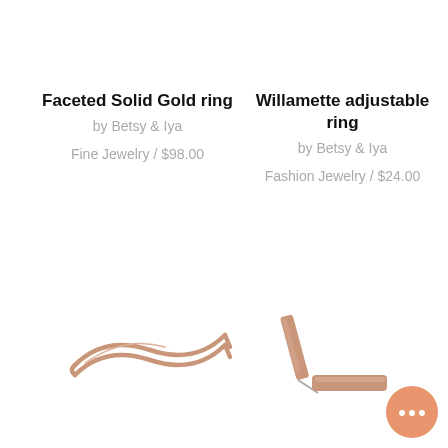Faceted Solid Gold ring
by Betsy & Iya
Fine Jewelry / $98.00
Willamette adjustable ring
by Betsy & Iya
Fashion Jewelry / $24.00
[Figure (photo): Rose gold open-band faceted ring with wavy silhouette, shown against white background]
[Figure (photo): Rose gold bar stud earrings, two bar pieces shown at an angle against white background]
[Figure (other): Orange chat/messaging button with three dots, bottom right corner]